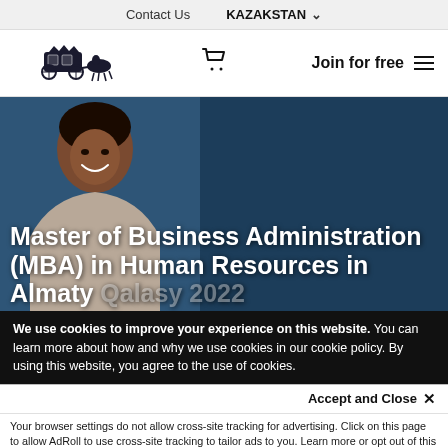Contact Us   KAZAKSTAN
[Figure (logo): Stagecoach/carriage logo for an educational marketplace website]
Join for free
[Figure (photo): Smiling Black woman in business attire against dark blue background, representing MBA program]
Master of Business Administration (MBA) in Human Resources in Almaty Qalasy 2022
We use cookies to improve your experience on this website. You can learn more about how and why we use cookies in our cookie policy. By using this website, you agree to the use of cookies.
Accept and Close ×
Your browser settings do not allow cross-site tracking for advertising. Click on this page to allow AdRoll to use cross-site tracking to tailor ads to you. Learn more or opt out of this AdRoll tracking by clicking here. This message only appears once.